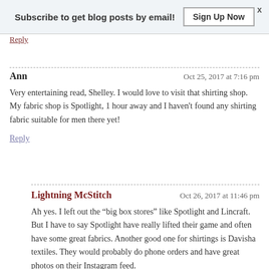Subscribe to get blog posts by email! Sign Up Now
Reply
Ann — Oct 25, 2017 at 7:16 pm
Very entertaining read, Shelley. I would love to visit that shirting shop. My fabric shop is Spotlight, 1 hour away and I haven't found any shirting fabric suitable for men there yet!
Reply
Lightning McStitch — Oct 26, 2017 at 11:46 pm
Ah yes. I left out the “big box stores” like Spotlight and Lincraft. But I have to say Spotlight have really lifted their game and often have some great fabrics. Another good one for shirtings is Davisha textiles. They would probably do phone orders and have great photos on their Instagram feed.